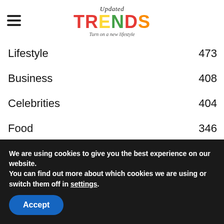Updated TRENDS - Turn on a new lifestyle
Lifestyle 473
Business 408
Celebrities 404
Food 346
Beauty 321
Technology 258
We are using cookies to give you the best experience on our website. You can find out more about which cookies we are using or switch them off in settings. Accept